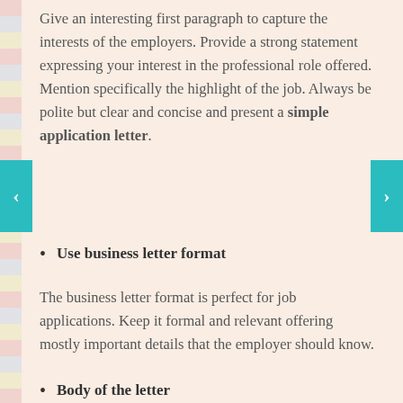Give an interesting first paragraph to capture the interests of the employers. Provide a strong statement expressing your interest in the professional role offered. Mention specifically the highlight of the job. Always be polite but clear and concise and present a simple application letter.
Use business letter format
The business letter format is perfect for job applications. Keep it formal and relevant offering mostly important details that the employer should know.
Body of the letter